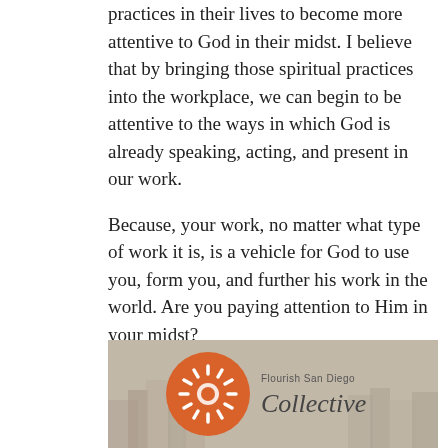practices in their lives to become more attentive to God in their midst. I believe that by bringing those spiritual practices into the workplace, we can begin to be attentive to the ways in which God is already speaking, acting, and present in our work.
Because, your work, no matter what type of work it is, is a vehicle for God to use you, form you, and further his work in the world. Are you paying attention to Him in your midst?
Hear more from Shannon at our next Collective Lunch!
[Figure (logo): Flourish San Diego Collective logo — orange circle with sun/flower icon on left, text 'Flourish San Diego Collective' on right, over a muted cityscape background]